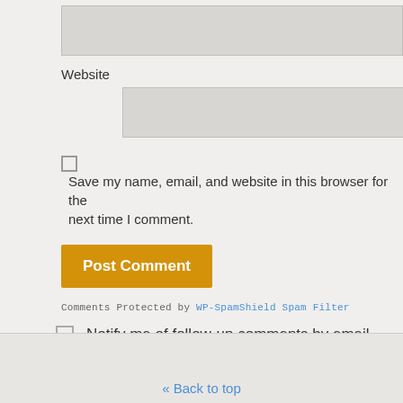Website
Save my name, email, and website in this browser for the next time I comment.
Post Comment
Comments Protected by WP-SpamShield Spam Filter
Notify me of follow-up comments by email.
Notify me of new posts by email.
Back to top